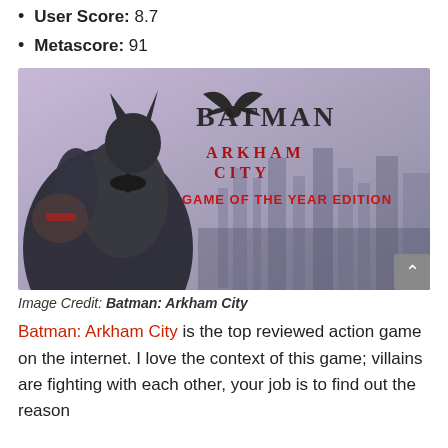User Score: 8.7
Metascore: 91
[Figure (photo): Batman: Arkham City Game of the Year Edition promotional image showing Batman in foreground with game logo text on a purple/grey background with cityscape]
Image Credit: Batman: Arkham City
Batman: Arkham City is the top reviewed action game on the internet. I love the context of this game; villains are fighting with each other, your job is to find out the reason